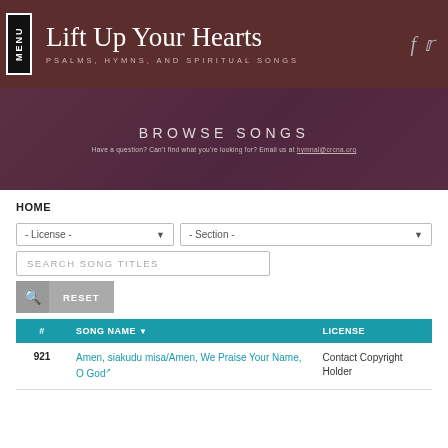MENU | Lift Up Your Hearts | PSALMS, HYMNS, AND SPIRITUAL SONGS
[Figure (screenshot): Hero banner with text BROWSE SONGS and subtitle: Have a question? Can't find what you're looking for? Email us at hymnal@crcna.org]
HOME
- License -
- Section -
SEARCH SONG TITLES
RESET
| # | SONG NAME ▼ | LICENSE |
| --- | --- | --- |
| 921 | Amen, siakudu misa/Amen, We Praise Your Name, O God | Contact Copyright Holder |